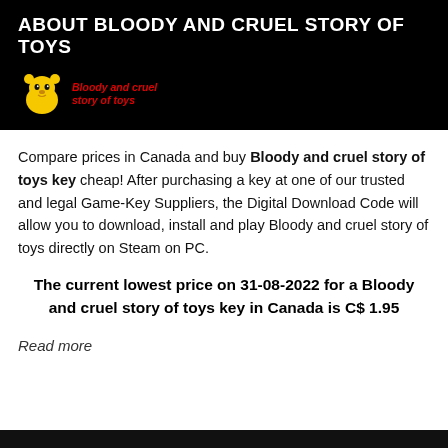ABOUT BLOODY AND CRUEL STORY OF TOYS
[Figure (logo): Yellow cartoon bear logo with red italic text 'Bloody and cruel story of toys']
Compare prices in Canada and buy Bloody and cruel story of toys key cheap! After purchasing a key at one of our trusted and legal Game-Key Suppliers, the Digital Download Code will allow you to download, install and play Bloody and cruel story of toys directly on Steam on PC.
The current lowest price on 31-08-2022 for a Bloody and cruel story of toys key in Canada is C$ 1.95
Read more